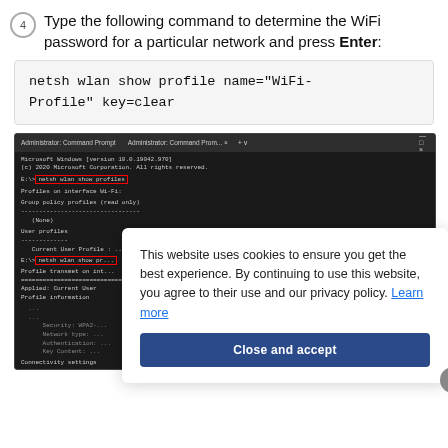4. Type the following command to determine the WiFi password for a particular network and press Enter:
netsh wlan show profile name="WiFi-Profile" key=clear
[Figure (screenshot): Windows Command Prompt showing netsh wlan show profiles command output with a cookie consent overlay partially covering the terminal screenshot. The cookie banner reads: 'This website uses cookies to ensure you get the best experience. By continuing to use this website, you agree to their use and our privacy policy. Learn more' with a 'Close and accept' button.]